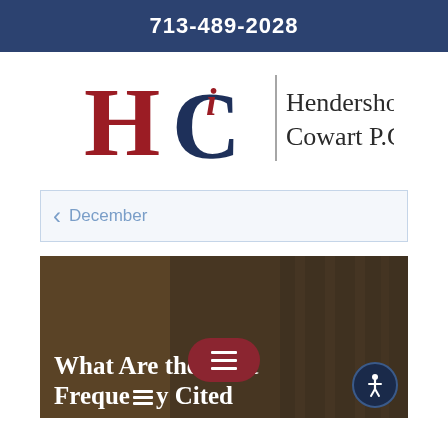713-489-2028
[Figure (logo): Hendershot Cowart P.C. law firm logo with HC monogram in red and navy blue, with firm name text]
December
[Figure (photo): Background photo with overlay text reading 'What Are the Most Frequently Cited' with menu and accessibility icons visible]